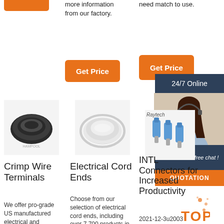[Figure (photo): Partial orange button top of column 1]
more information from our factory.
need match to use.
[Figure (photo): Orange Get Price button column 2]
[Figure (photo): Orange Get Price button column 3]
[Figure (photo): 24/7 Online dark panel overlay]
[Figure (photo): Customer service representative photo with headset]
[Figure (photo): Click here for free chat panel]
[Figure (photo): QUOTATION orange button]
[Figure (photo): Black braided sleeving roll - Crimp Wire Terminals product]
[Figure (photo): Clear flexible tubing coil - Electrical Cord Ends product]
[Figure (photo): Blue wire connectors with Raytech logo]
Crimp Wire Terminals
Electrical Cord Ends
INTL Connectors for Increased Productivity
We offer pro-grade US manufactured electrical and
Choose from our selection of electrical cord ends, including over 7,700 products in a wide
2021-12-3u2003 u2003Reduce